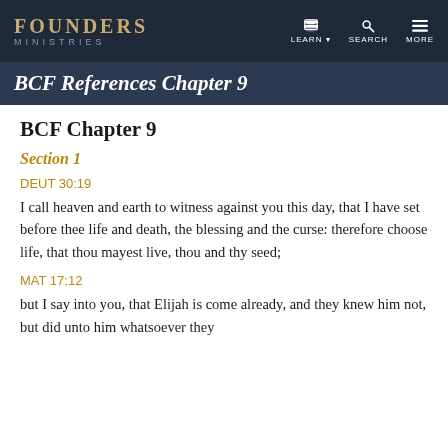FOUNDERS MINISTRIES | LEARN | SEARCH | MORE
BCF References Chapter 9
BCF Chapter 9
Section 1
DEUT 30:19
I call heaven and earth to witness against you this day, that I have set before thee life and death, the blessing and the curse: therefore choose life, that thou mayest live, thou and thy seed;
MAT 17:12
but I say into you, that Elijah is come already, and they knew him not, but did unto him whatsoever they